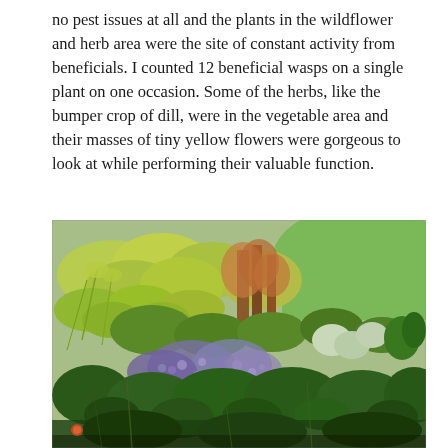no pest issues at all and the plants in the wildflower and herb area were the site of constant activity from beneficials. I counted 12 beneficial wasps on a single plant on one occasion. Some of the herbs, like the bumper crop of dill, were in the vegetable area and their masses of tiny yellow flowers were gorgeous to look at while performing their valuable function.
[Figure (photo): Outdoor garden photograph showing a lush wildflower and herb border with tall yellow-green dill plants in the background, purple ageratum-like flowers in the middle, and various green leafy plants in the foreground, with a green lawn visible in the upper right.]